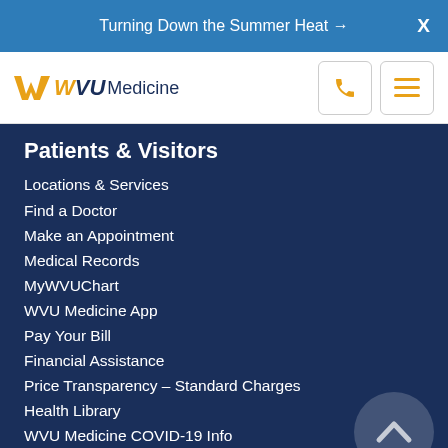Turning Down the Summer Heat →  X
[Figure (logo): WVU Medicine logo with stylized flying WV in gold and navy, followed by WVU in navy bold italic and Medicine in navy regular weight]
Patients & Visitors
Locations & Services
Find a Doctor
Make an Appointment
Medical Records
MyWVUChart
WVU Medicine App
Pay Your Bill
Financial Assistance
Price Transparency – Standard Charges
Health Library
WVU Medicine COVID-19 Info
Medical Professionals
Refer a Patient
Provider Portal
Transplant Services
Specialists Directory